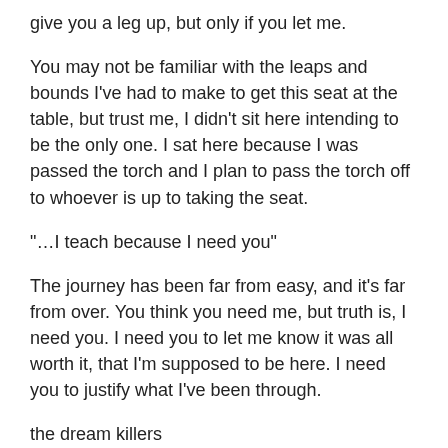give you a leg up, but only if you let me.
You may not be familiar with the leaps and bounds I've had to make to get this seat at the table, but trust me, I didn't sit here intending to be the only one. I sat here because I was passed the torch and I plan to pass the torch off to whoever is up to taking the seat.
“…I teach because I need you”
The journey has been far from easy, and it’s far from over. You think you need me, but truth is, I need you. I need you to let me know it was all worth it, that I’m supposed to be here. I need you to justify what I’ve been through.
the dream killers
the “you’re not supposed to be here” stares and